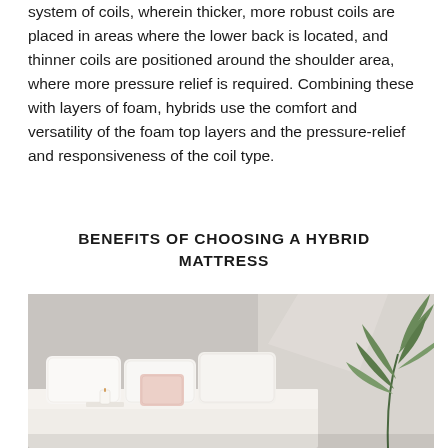system of coils, wherein thicker, more robust coils are placed in areas where the lower back is located, and thinner coils are positioned around the shoulder area, where more pressure relief is required. Combining these with layers of foam, hybrids use the comfort and versatility of the foam top layers and the pressure-relief and responsiveness of the coil type.
BENEFITS OF CHOOSING A HYBRID MATTRESS
[Figure (photo): A bedroom scene showing a neatly made bed with white and pink pillows, white bedding, a small white tray with a candle, and a green tropical plant visible in the upper right corner. The room has a soft, light grey wall with natural light.]